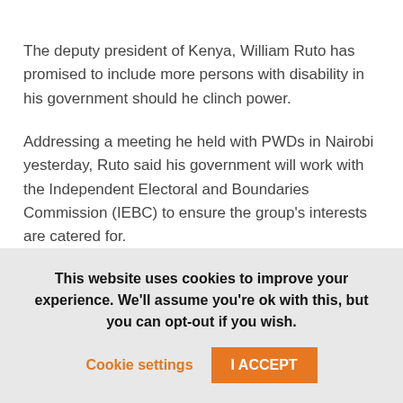The deputy president of Kenya, William Ruto has promised to include more persons with disability in his government should he clinch power.
Addressing a meeting he held with PWDs in Nairobi yesterday, Ruto said his government will work with the Independent Electoral and Boundaries Commission (IEBC) to ensure the group's interests are catered for.
This website uses cookies to improve your experience. We'll assume you're ok with this, but you can opt-out if you wish.